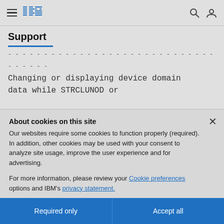IBM Support navigation bar
Support
-------- 
Changing or displaying device domain data while STRCLUNOD or
About cookies on this site
Our websites require some cookies to function properly (required). In addition, other cookies may be used with your consent to analyze site usage, improve the user experience and for advertising.

For more information, please review your Cookie preferences options and IBM's privacy statement.
Required only
Accept all